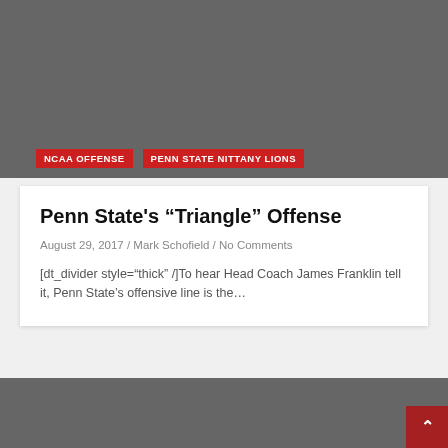[Figure (other): Dark gray background image area at the top of the page]
NCAA OFFENSE
PENN STATE NITTANY LIONS
Penn State's “Triangle” Offense
August 29, 2017 / Mark Schofield / No Comments
[dt_divider style="thick" /]To hear Head Coach James Franklin tell it, Penn State's offensive line is the…
[Figure (other): Dark gray background image area at the bottom of the page with a red scroll-to-top button in the lower right corner]